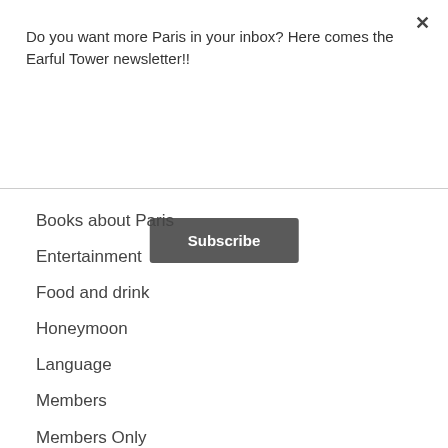Do you want more Paris in your inbox? Here comes the Earful Tower newsletter!!
Subscribe
Books about Paris
Entertainment
Food and drink
Honeymoon
Language
Members
Members Only
Moving to France
Paris Countdown